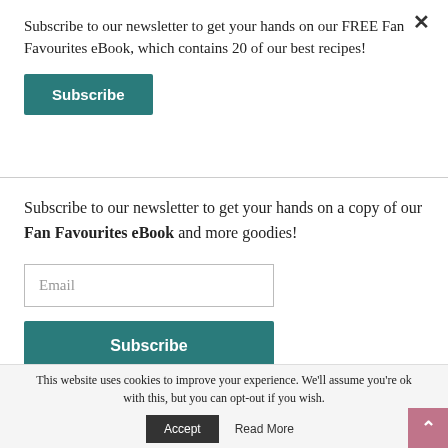Subscribe to our newsletter to get your hands on our FREE Fan Favourites eBook, which contains 20 of our best recipes!
Subscribe
Subscribe to our newsletter to get your hands on a copy of our Fan Favourites eBook and more goodies!
Email
Subscribe
This website uses cookies to improve your experience. We'll assume you're ok with this, but you can opt-out if you wish.
Accept
Read More